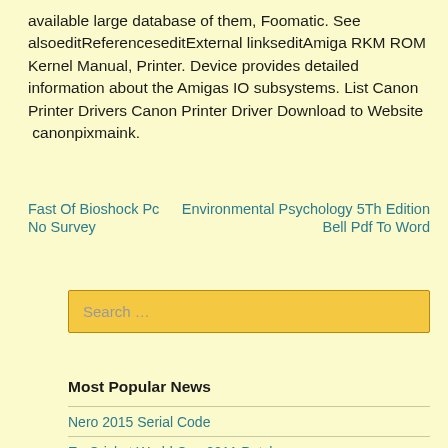available large database of them, Foomatic. See alsoeditReferenceseditExternal linkseditAmiga RKM ROM Kernel Manual, Printer. Device provides detailed information about the Amigas IO subsystems. List Canon Printer Drivers Canon Printer Driver Download to Website  canonpixmaink.
Fast Of Bioshock Pc No Survey
Environmental Psychology 5Th Edition Bell Pdf To Word
Search …
Most Popular News
Nero 2015 Serial Code
Ea Cricket World Cup 2011 Patch
Commandos Strike Force Full Game